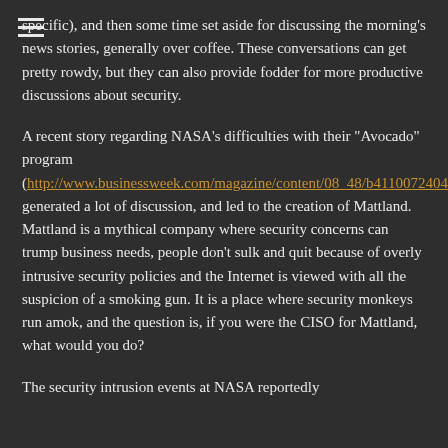specific), and then some time set aside for discussing the morning's news stories, generally over coffee. These conversations can get pretty rowdy, but they can also provide fodder for more productive discussions about security.
A recent story regarding NASA's difficulties with their "Avocado" program (http://www.businessweek.com/magazine/content/08_48/b4110072404167.htm) generated a lot of discussion, and led to the creation of Mattland. Mattland is a mythical company where security concerns can trump business needs, people don't sulk and quit because of overly intrusive security policies and the Internet is viewed with all the suspicion of a smoking gun. It is a place where security monkeys run amok, and the question is, if you were the CISO for Mattland, what would you do?
The security intrusion events at NASA reportedly